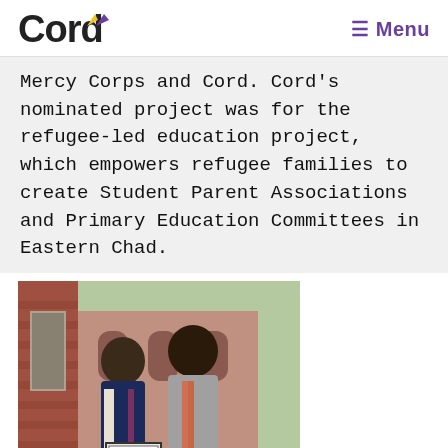Cord  Menu
Mercy Corps and Cord. Cord's nominated project was for the refugee-led education project, which empowers refugee families to create Student Parent Associations and Primary Education Committees in Eastern Chad.
[Figure (photo): Two men standing outdoors in front of a brick building, one holding a framed certificate. Man on left wearing dark navy suit with tie, man on right wearing grey blazer with pink striped shirt.]